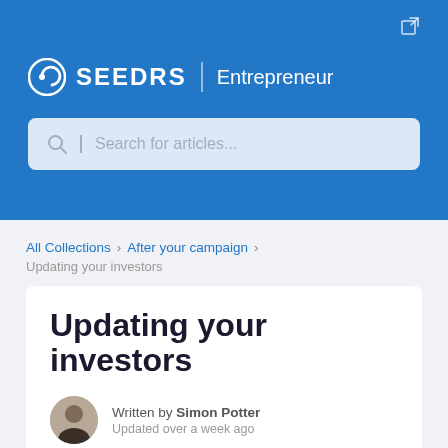[Figure (logo): Seedrs Entrepreneur logo with search bar in blue header]
All Collections > After your campaign >
Updating your investors
Updating your investors
Written by Simon Potter
Updated over a week ago